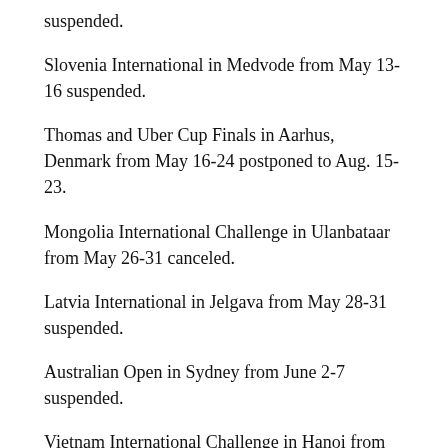suspended.
Slovenia International in Medvode from May 13-16 suspended.
Thomas and Uber Cup Finals in Aarhus, Denmark from May 16-24 postponed to Aug. 15-23.
Mongolia International Challenge in Ulanbataar from May 26-31 canceled.
Latvia International in Jelgava from May 28-31 suspended.
Australian Open in Sydney from June 2-7 suspended.
Vietnam International Challenge in Hanoi from June 2-7 suspended.
Lithuanian International in Panevezys from June 4-7 suspended.
Thailand Open in Bangkok from June 9-14 suspended.